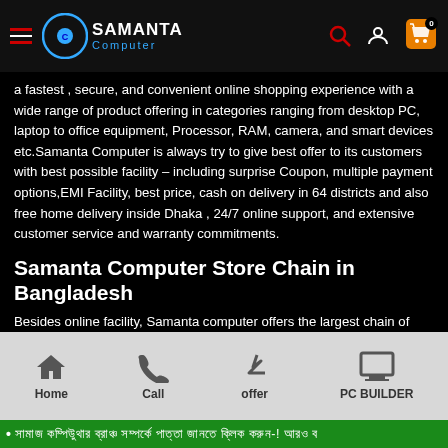Samanta Computer — navigation header with logo, search, account, cart (0)
a fastest , secure, and convenient online shopping experience with a wide range of product offering in categories ranging from desktop PC, laptop to office equipment, Processor, RAM, camera, and smart devices etc.Samanta Computer is always try to give best offer to its customers with best possible facility – including surprise Coupon, multiple payment options,EMI Facility, best price, cash on delivery in 64 districts and also free home delivery inside Dhaka , 24/7 online support, and extensive customer service and warranty commitments.
Samanta Computer Store Chain in Bangladesh
Besides online facility, Samanta computer offers the largest chain of stores in Bangladesh with its branches available in BCS Computer City, IBD Bhaban(1st Floor), Shop No: SR 123/1, Dhaka-Bangladesh. We have stores at the most prominent Multiplan Center, Level:-1, Shop:-108-109, New Elephant Road, Dhaka-Bangladesh. Samantha Computer has a Multiplan Center which is located at Computer City Center, Level-14
Home | Call | offer | PC BUILDER — bottom navigation bar
• xxxxxxxx xxxxxxxxx xxxx xx xxxxxxxx xxxxxxxxx xxxx-! xxxxxxxx x — ticker